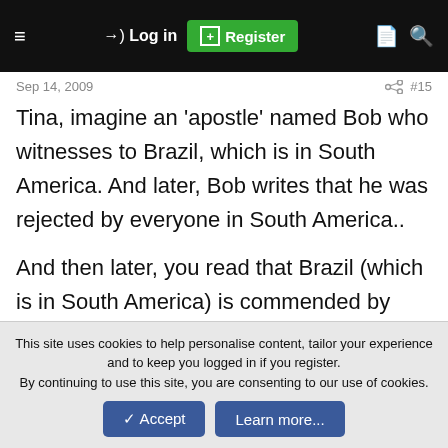≡   →) Log in   [+] Register   🗋   🔍
Sep 14, 2009   #15
Tina, imagine an 'apostle' named Bob who witnesses to Brazil, which is in South America. And later, Bob writes that he was rejected by everyone in South America..
And then later, you read that Brazil (which is in South America) is commended by God for rejecting false apostles...wouldnt you question
This site uses cookies to help personalise content, tailor your experience and to keep you logged in if you register.
By continuing to use this site, you are consenting to our use of cookies.
[Accept] [Learn more...]